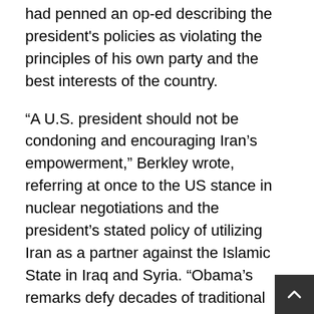had penned an op-ed describing the president's policies as violating the principles of his own party and the best interests of the country.
“A U.S. president should not be condoning and encouraging Iran’s empowerment,” Berkley wrote, referring at once to the US stance in nuclear negotiations and the president’s stated policy of utilizing Iran as a partner against the Islamic State in Iraq and Syria. “Obama’s remarks defy decades of traditional bipartisan American foreign policy that has always aimed to strengthen Israel and moderate Arab states against Iran.”
Berkley’s commentary placed significant emphasis on the break between the Obama administration and the government of Israel, which has been the source of some of the strongest and most consistent criticism of Iran and its apparent pursuit of nuclear weapons. This week, according to the Jerusalem